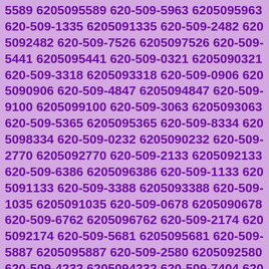5589 6205095589 620-509-5963 6205095963 620-509-1335 6205091335 620-509-2482 6205092482 620-509-7526 6205097526 620-509-5441 6205095441 620-509-0321 6205090321 620-509-3318 6205093318 620-509-0906 6205090906 620-509-4847 6205094847 620-509-9100 6205099100 620-509-3063 6205093063 620-509-5365 6205095365 620-509-8334 6205098334 620-509-0232 6205090232 620-509-2770 6205092770 620-509-2133 6205092133 620-509-6386 6205096386 620-509-1133 6205091133 620-509-3388 6205093388 620-509-1035 6205091035 620-509-0678 6205090678 620-509-6762 6205096762 620-509-2174 6205092174 620-509-5681 6205095681 620-509-5887 6205095887 620-509-2580 6205092580 620-509-4232 6205094232 620-509-7404 6205097404 620-509-6535 6205096535 620-509-5912 6205095912 620-509-9368 6205099368 620-509-4623 6205094623 620-509-8092 6205098092 620-509-5971 6205095971 620-509-7801 6205097801 620-509-5476 6205095476 620-509-2705 6205092705 620-509-7727 6205097727 620-509-6885 6205096885 620-509-2715 6205092715 620-509-7562 6205097562 620-509-